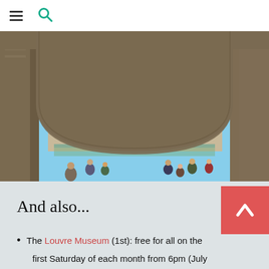≡ 🔍
[Figure (photo): View through a stone arch at the Louvre Museum in Paris, showing the glass pyramid in the courtyard with tourists walking in the foreground and the classical palace building in the background under a blue sky.]
And also...
The Louvre Museum (1st): free for all on the first Saturday of each month from 6pm (July
first Saturday of each month from 6pm (July